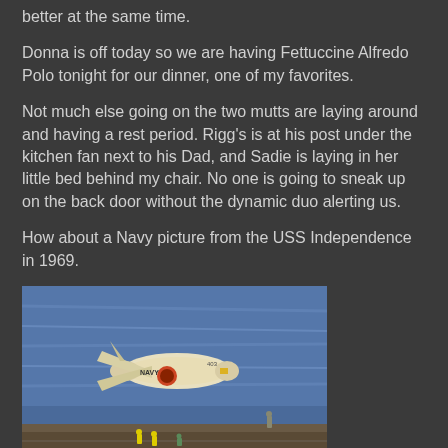better at the same time.
Donna is off today so we are having Fettuccine Alfredo Polo tonight for our dinner, one of my favorites.
Not much else going on the two mutts are laying around and having a rest period. Rigg’s is at his post under the kitchen fan next to his Dad, and Sadie is laying in her little bed behind my chair. No one is going to sneak up on the back door without the dynamic duo alerting us.
How about a Navy picture from the USS Independence in 1969.
[Figure (photo): A Navy jet aircraft (marked NAVY) taking off or landing from an aircraft carrier deck, with blue ocean water in the background and crew members visible on the deck. USS Independence, 1969.]